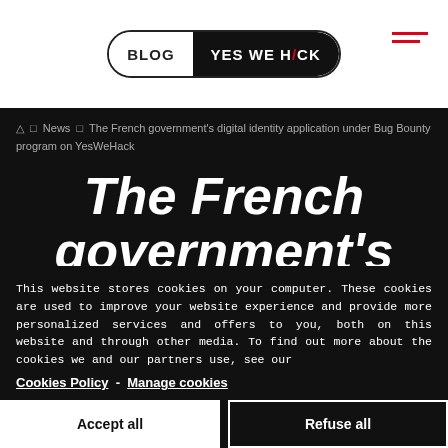BLOG YES WE HACK
△ □ News □ The French government's digital identity application under Bug Bounty program on YesWeHack
The French government's digital identity application under Bug Bounty
This website stores cookies on your computer. These cookies are used to improve your website experience and provide more personalized services and offers to you, both on this website and through other media. To find out more about the cookies we and our partners use, see our Cookies Policy - Manage cookies
Accept all
Refuse all